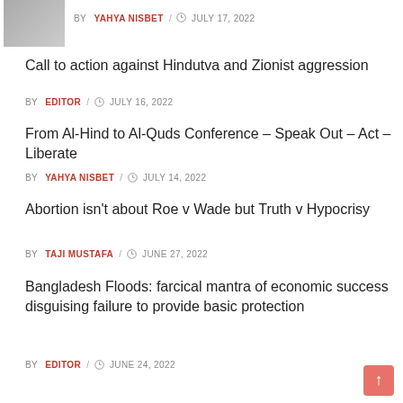[Figure (photo): Thumbnail image placeholder, top left]
BY YAHYA NISBET / JULY 17, 2022
Call to action against Hindutva and Zionist aggression
BY EDITOR / JULY 16, 2022
From Al-Hind to Al-Quds Conference – Speak Out – Act – Liberate
BY YAHYA NISBET / JULY 14, 2022
Abortion isn't about Roe v Wade but Truth v Hypocrisy
BY TAJI MUSTAFA / JUNE 27, 2022
Bangladesh Floods: farcical mantra of economic success disguising failure to provide basic protection
BY EDITOR / JUNE 24, 2022